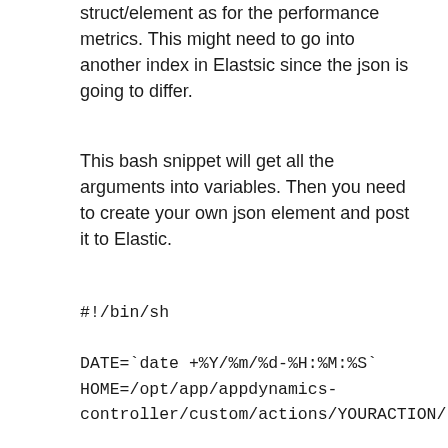struct/element as for the performance metrics. This might need to go into another index in Elastsic since the json is going to differ.
This bash snippet will get all the arguments into variables. Then you need to create your own json element and post it to Elastic.
#!/bin/sh

DATE=`date +%Y/%m/%d-%H:%M:%S`
HOME=/opt/app/appdynamics-controller/custom/actions/YOURACTION/

APP_NAME=`echo $1 | sed 's/"//g'`
APP_ID=`echo $2 | sed 's/"//g'`
PVN_ALERT_TIME=`echo $3 | sed 's/"//g'`
PRIORITY=`echo $4 | sed 's/"//g'`